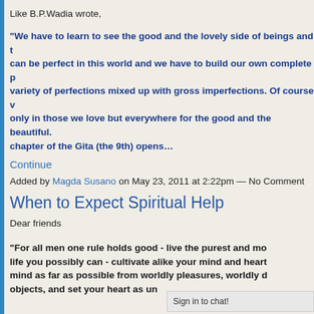Like B.P.Wadia wrote,
"We have to learn to see the good and the lovely side of beings and things... can be perfect in this world and we have to build our own complete picture... variety of perfections mixed up with gross imperfections. Of course we look not only in those we love but everywhere for the good and the beautiful. ...chapter of the Gita (the 9th) opens…
Continue
Added by Magda Susano on May 23, 2011 at 2:22pm — No Comments
When to Expect Spiritual Help
Dear friends
“For all men one rule holds good - live the purest and most... life you possibly can - cultivate alike your mind and heart... mind as far as possible from worldly pleasures, worldly d... objects, and set your heart as un...